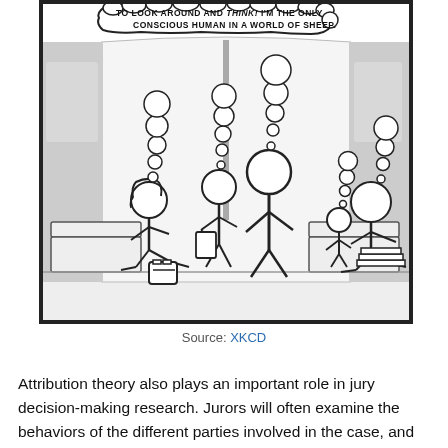[Figure (illustration): XKCD comic strip showing stick figures on what appears to be a subway/train. A thought bubble reads: 'TO LOOK AROUND AND THINK! I'M THE ONLY CONSCIOUS HUMAN IN A WORLD OF SHEEP.' Multiple stick figures are shown sitting and standing, with thought bubbles rising from each one.]
Source: XKCD
Attribution theory also plays an important role in jury decision-making research. Jurors will often examine the behaviors of the different parties involved in the case, and